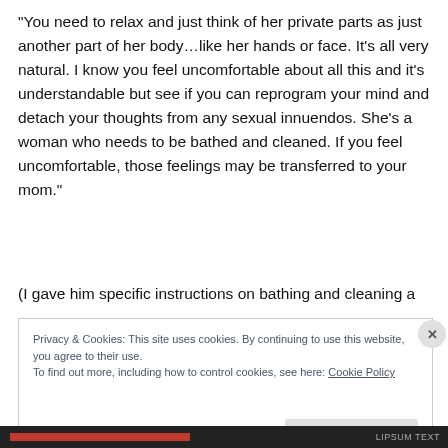“You need to relax and just think of her private parts as just another part of her body…like her hands or face. It’s all very natural. I know you feel uncomfortable about all this and it's understandable but see if you can reprogram your mind and detach your thoughts from any sexual innuendos. She’s a woman who needs to be bathed and cleaned. If you feel uncomfortable, those feelings may be transferred to your mom.”
(I gave him specific instructions on bathing and cleaning a
Privacy & Cookies: This site uses cookies. By continuing to use this website, you agree to their use.
To find out more, including how to control cookies, see here: Cookie Policy